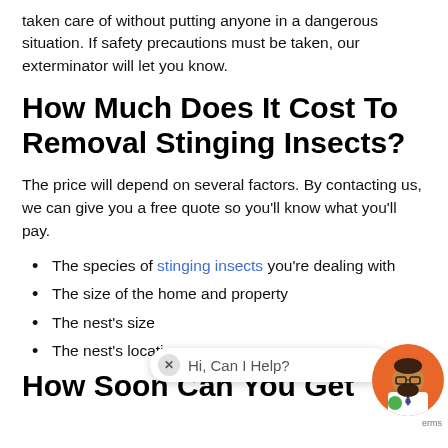taken care of without putting anyone in a dangerous situation. If safety precautions must be taken, our exterminator will let you know.
How Much Does It Cost To Removal Stinging Insects?
The price will depend on several factors. By contacting us, we can give you a free quote so you'll know what you'll pay.
The species of stinging insects you're dealing with
The size of the home and property
The nest's size
The nest's locations
[Figure (illustration): Chat widget with avatar showing 'Hi, Can I Help?' message bubble and terms label]
How Soon Can You Get